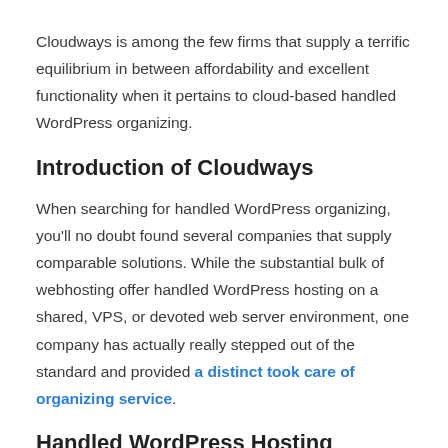Cloudways is among the few firms that supply a terrific equilibrium in between affordability and excellent functionality when it pertains to cloud-based handled WordPress organizing.
Introduction of Cloudways
When searching for handled WordPress organizing, you'll no doubt found several companies that supply comparable solutions. While the substantial bulk of webhosting offer handled WordPress hosting on a shared, VPS, or devoted web server environment, one company has actually really stepped out of the standard and provided a distinct took care of organizing service.
Handled WordPress Hosting
Cloudways offers took care of cloud-hosting services for WordPress websites on a cloud server where several duplicates of your material will certainly be duplicated throughout your picked